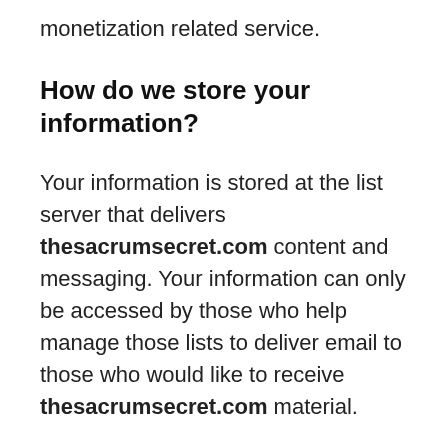monetization related service.
How do we store your information?
Your information is stored at the list server that delivers thesacrumsecret.com content and messaging. Your information can only be accessed by those who help manage those lists to deliver email to those who would like to receive thesacrumsecret.com material.
All the messaging or emails that are